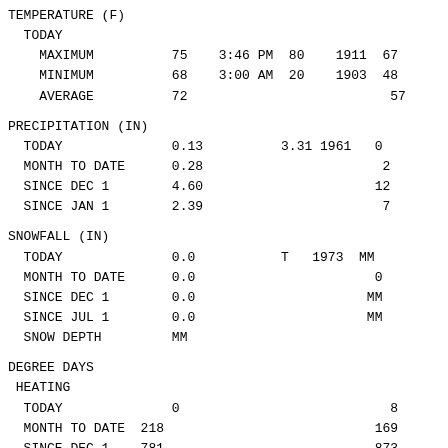| TEMPERATURE (F) |  |  |  |  |  |
|   TODAY |  |  |  |  |  |
|     MAXIMUM | 75 | 3:46 PM | 80 | 1911 | 67 |
|     MINIMUM | 68 | 3:00 AM | 20 | 1903 | 48 |
|     AVERAGE | 72 |  |  |  | 57 |
|  |  |  |  |  |  |
| PRECIPITATION (IN) |  |  |  |  |  |
|   TODAY | 0.13 |  | 3.31 | 1961 | 0 |
|   MONTH TO DATE | 0.28 |  |  |  | 2 |
|   SINCE DEC 1 | 4.60 |  |  |  | 12 |
|   SINCE JAN 1 | 2.39 |  |  |  | 7 |
|  |  |  |  |  |  |
| SNOWFALL (IN) |  |  |  |  |  |
|   TODAY | 0.0 |  | T | 1973 | MM |
|   MONTH TO DATE | 0.0 |  |  |  | 0 |
|   SINCE DEC 1 | 0.0 |  |  |  | MM |
|   SINCE JUL 1 | 0.0 |  |  |  | MM |
|   SNOW DEPTH | MM |  |  |  |  |
|  |  |  |  |  |  |
| DEGREE DAYS |  |  |  |  |  |
|  HEATING |  |  |  |  |  |
|   TODAY | 0 |  |  |  | 8 |
|   MONTH TO DATE | 218 |  |  |  | 169 |
|   SINCE DEC 1 | 781 |  |  |  | 873 |
|   SINCE JUL 1 | 983 |  |  |  | 1067 |